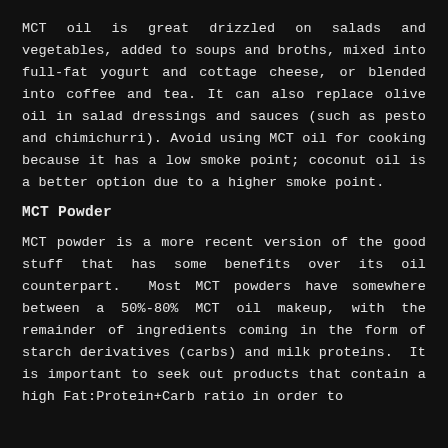MCT oil is great drizzled on salads and vegetables, added to soups and broths, mixed into full-fat yogurt and cottage cheese, or blended into coffee and tea. It can also replace olive oil in salad dressings and sauces (such as pesto and chimichurri). Avoid using MCT oil for cooking because it has a low smoke point; coconut oil is a better option due to a higher smoke point.
MCT Powder
MCT powder is a more recent version of the good stuff that has some benefits over its oil counterpart.  Most MCT powders have somewhere between a 50%-80% MCT oil makeup, with the remainder of ingredients coming in the form of starch derivatives (carbs) and milk proteins.  It is important to seek out products that contain a high Fat:Protein+Carb ratio in order to